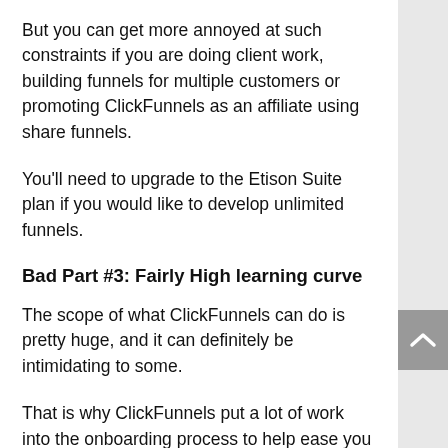But you can get more annoyed at such constraints if you are doing client work, building funnels for multiple customers or promoting ClickFunnels as an affiliate using share funnels.
You'll need to upgrade to the Etison Suite plan if you would like to develop unlimited funnels.
Bad Part #3: Fairly High learning curve
The scope of what ClickFunnels can do is pretty huge, and it can definitely be intimidating to some.
That is why ClickFunnels put a lot of work into the onboarding process to help ease you into the software. The ClickFunnels interface is fairely well designed for the most part, and when...